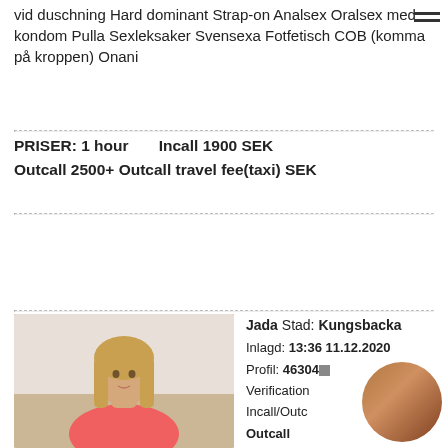vid duschning Hard dominant Strap-on Analsex Oralsex med kondom Pulla Sexleksaker Svensexa Fotfetisch COB (komma på kroppen) Onani
PRISER: 1 hour   Incall 1900 SEK Outcall 2500+ Outcall travel fee(taxi) SEK
Prioritetsannons
[Figure (photo): Photo of a young blonde woman in a red swimsuit]
[Figure (photo): Circular overlay thumbnail photo]
Jada Stad: Kungsbacka Inlagd: 13:36 11.12.2020 Profil: 46304... Verification: Incall/Outc... Outcall Info Telefon: 46XXX...